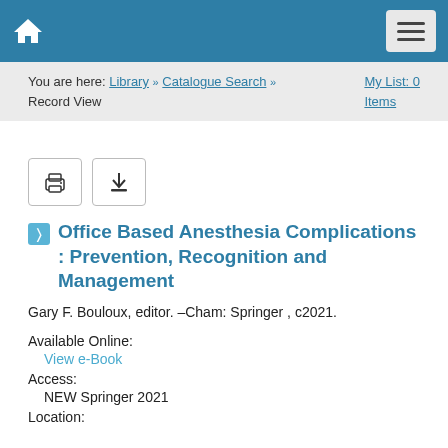Home | Menu
You are here: Library » Catalogue Search » Record View | My List: 0 Items
[Figure (screenshot): Two action buttons: a print icon and a download icon, each in a bordered square button.]
Office Based Anesthesia Complications : Prevention, Recognition and Management
Gary F. Bouloux, editor. –Cham: Springer , c2021.
Available Online:
View e-Book
Access:
NEW Springer 2021
Location: